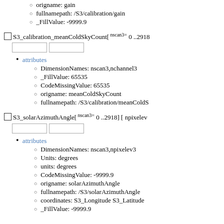origname: gain
fullnamepath: /S3/calibration/gain
_FillValue: -9999.9
S3_calibration_meanColdSkyCount[ nscan3= 0 ..2918]
attributes
DimensionNames: nscan3,nchannel3
_FillValue: 65535
CodeMissingValue: 65535
origname: meanColdSkyCount
fullnamepath: /S3/calibration/meanColdS
S3_solarAzimuthAngle[ nscan3= 0 ..2918] [ npixelev
attributes
DimensionNames: nscan3,npixelev3
Units: degrees
units: degrees
CodeMissingValue: -9999.9
origname: solarAzimuthAngle
fullnamepath: /S3/solarAzimuthAngle
coordinates: S3_Longitude S3_Latitude
_FillValue: -9999.9